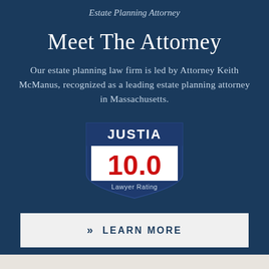Estate Planning Attorney
Meet The Attorney
Our estate planning law firm is led by Attorney Keith McManus, recognized as a leading estate planning attorney in Massachusetts.
[Figure (logo): Justia badge showing a 10.0 Lawyer Rating — dark navy shield shape with white 'JUSTIA' text at top, red '10.0' in large numerals, and 'Lawyer Rating' in white text below]
LEARN MORE